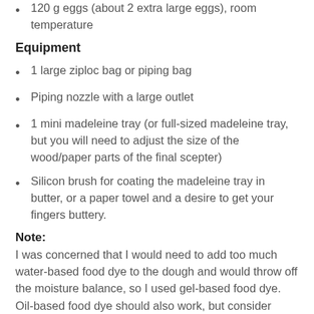120 g eggs (about 2 extra large eggs), room temperature
Equipment
1 large ziploc bag or piping bag
Piping nozzle with a large outlet
1 mini madeleine tray (or full-sized madeleine tray, but you will need to adjust the size of the wood/paper parts of the final scepter)
Silicon brush for coating the madeleine tray in butter, or a paper towel and a desire to get your fingers buttery.
Note:
I was concerned that I would need to add too much water-based food dye to the dough and would throw off the moisture balance, so I used gel-based food dye. Oil-based food dye should also work, but consider mixing it in with the butter instead of with the eggs.
Instructions
1. Microwave the 130 g of butter until fully melted, then skim